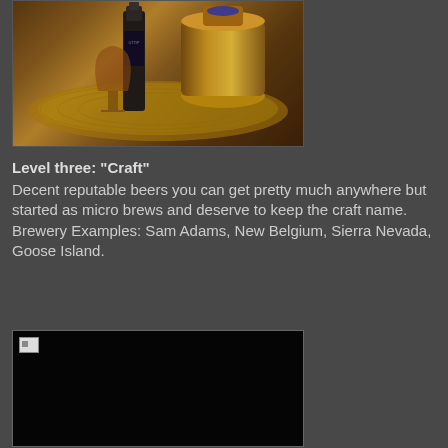[Figure (photo): Photo of a dark beer bottle labeled 'UTOPIA' with a small snifter glass on a woven/rattan golden circular mat, with a large ornate golden/copper vessel beside it]
Level three: "Craft"
Decent reputable beers you can get pretty much anywhere but started as micro brews and deserve to keep the craft name.
Brewery Examples: Sam Adams, New Belgium, Sierra Nevada, Goose Island.
[Figure (photo): Mostly black/dark image, appears to be a broken or failed image load]